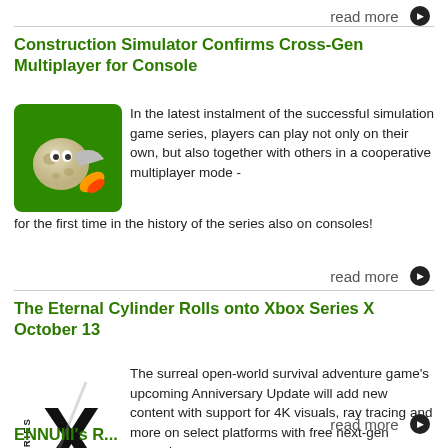read more →
Construction Simulator Confirms Cross-Gen Multiplayer for Console
[Figure (illustration): Construction Simulator game logo: green square with a cartoon moon/satellite character and a rocket exhaust.]
In the latest instalment of the successful simulation game series, players can play not only on their own, but also together with others in a cooperative multiplayer mode - for the first time in the history of the series also on consoles!
read more →
The Eternal Cylinder Rolls onto Xbox Series X October 13
[Figure (logo): Xbox Series X logo: large black X with the word SERIES vertically on the left side.]
The surreal open-world survival adventure game's upcoming Anniversary Update will add new content with support for 4K visuals, ray tracing and more on select platforms with free next-gen upgrade.
read more →
ENNUIII's Rocolves onto...